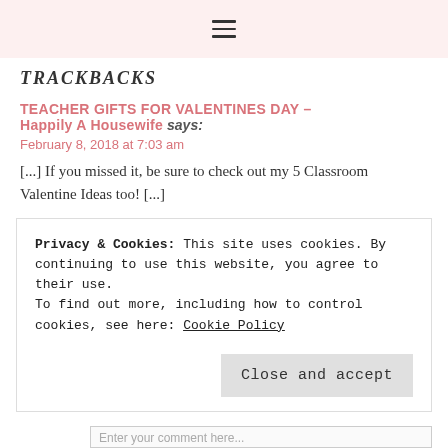≡
TRACKBACKS
TEACHER GIFTS FOR VALENTINES DAY – Happily A Housewife says: February 8, 2018 at 7:03 am
[...] If you missed it, be sure to check out my 5 Classroom Valentine Ideas too! [...]
★ Loading...
Privacy & Cookies: This site uses cookies. By continuing to use this website, you agree to their use.
To find out more, including how to control cookies, see here: Cookie Policy
Close and accept
Enter your comment here...